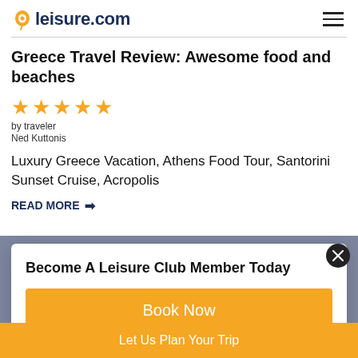leisure.com
Greece Travel Review: Awesome food and beaches
★★★★★
by traveler
Ned Kuttonis
Luxury Greece Vacation, Athens Food Tour, Santorini Sunset Cruise, Acropolis
READ MORE →
Become A Leisure Club Member Today
Book Now
Let Us Plan Your Trip